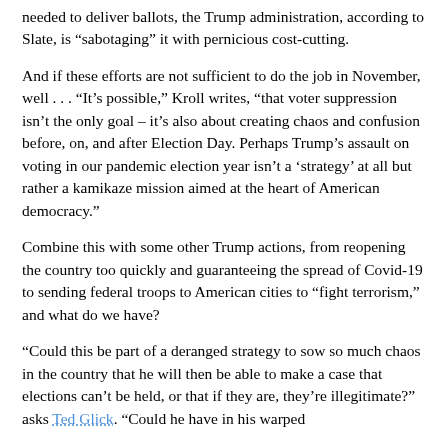needed to deliver ballots, the Trump administration, according to Slate, is “sabotaging” it with pernicious cost-cutting.
And if these efforts are not sufficient to do the job in November, well . . . “It’s possible,” Kroll writes, “that voter suppression isn’t the only goal – it’s also about creating chaos and confusion before, on, and after Election Day. Perhaps Trump’s assault on voting in our pandemic election year isn’t a ‘strategy’ at all but rather a kamikaze mission aimed at the heart of American democracy.”
Combine this with some other Trump actions, from reopening the country too quickly and guaranteeing the spread of Covid-19 to sending federal troops to American cities to “fight terrorism,” and what do we have?
“Could this be part of a deranged strategy to sow so much chaos in the country that he will then be able to make a case that elections can’t be held, or that if they are, they’re illegitimate?” asks Ted Glick. “Could he have in his warped